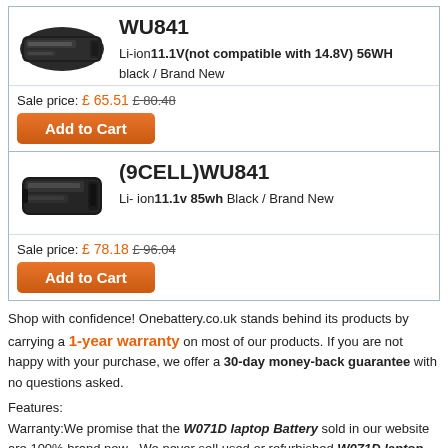WU841
Li-ion 11.1V(not compatible with 14.8V) 56WH black / Brand New
Sale price: £ 65.51 £ 80.48
Add to Cart
(9CELL)WU841
Li- ion 11.1v 85wh Black / Brand New
Sale price: £ 78.18 £ 96.04
Add to Cart
Shop with confidence! Onebattery.co.uk stands behind its products by carrying a 1-year warranty on most of our products. If you are not happy with your purchase, we offer a 30-day money-back guarantee with no questions asked.
Features:
Warranty:We promise that the W071D laptop Battery sold in our website are 100% brand new - We never sell used or refurbished W071D laptop Battery.
1.100% new high quality Replacement battery Compatible your dell laptops.
2.Provides excellent discharge characteristics.